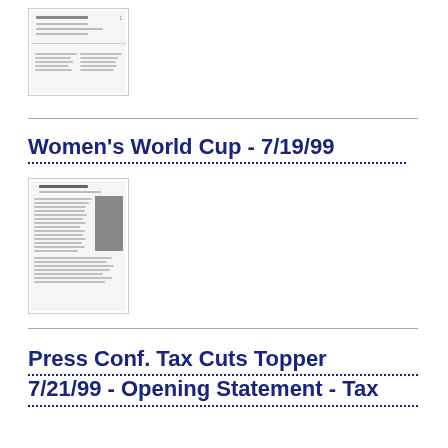[Figure (screenshot): Thumbnail of a document page showing text content]
Women's World Cup - 7/19/99
[Figure (screenshot): Thumbnail of a news article page about Women's World Cup with an image on the right side]
Press Conf. Tax Cuts Topper 7/21/99 - Opening Statement - Tax